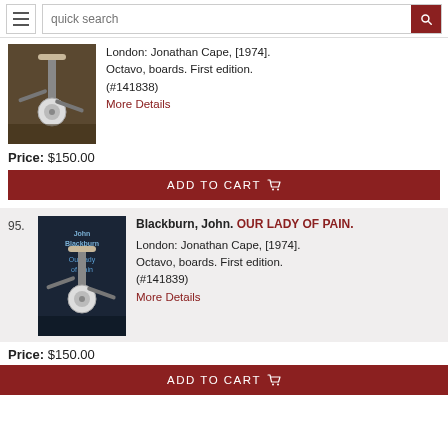quick search
[Figure (photo): Book cover thumbnail showing an antenna or mechanical device, partially visible (top listing)]
London: Jonathan Cape, [1974]. Octavo, boards. First edition. (#141838)
More Details
Price: $150.00
ADD TO CART
95.
Blackburn, John. OUR LADY OF PAIN.
[Figure (photo): Book cover for Our Lady of Pain by John Blackburn, showing a mechanical/antenna device against a dark background]
London: Jonathan Cape, [1974]. Octavo, boards. First edition. (#141839)
More Details
Price: $150.00
ADD TO CART